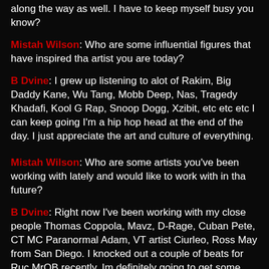along the way as well. I have to keep myself busy you know?
Mistah Wilson: Who are some influential figures that have inspired tha artist you are today?
B Dvine: I grew up listening to alot of Rakim, Big Daddy Kane, Wu Tang, Mobb Deep, Nas, Tragedy Khadafi, Kool G Rap, Snoop Dogg, Xzibit, etc etc etc I can keep going I'm a hip hop head at the end of the day. I just appreciate the art and culture of everything.
Mistah Wilson: Who are some artists you've been working with lately and would like to work with in tha future?
B Dvine: Right now I've been working with my close people Thomas Coppola, Mavz, D-Rage, Cuban Pete, CT MC Paranormal Adam, VT artist Ciurleo, Ross May from San Diego. I knocked out a couple of beats for Ruc MrQB recently. Im definitely going to get some joints done with Pace in the near future but I would also like to do joints with